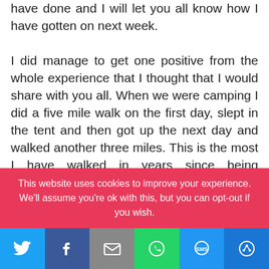have done and I will let you all know how I have gotten on next week.

I did manage to get one positive from the whole experience that I thought that I would share with you all. When we were camping I did a five mile walk on the first day, slept in the tent and then got up the next day and walked another three miles. This is the most I have walked in years since being diagnosed with ME and now I know that I can do these things and I am better so that was a great learning experience for me.
This website uses cookies to improve your experience. We'll assume you're ok with this, but you can opt-out if you wish.
[Figure (other): Social media share bar with Twitter, Facebook, Email, WhatsApp, SMS, and More buttons]